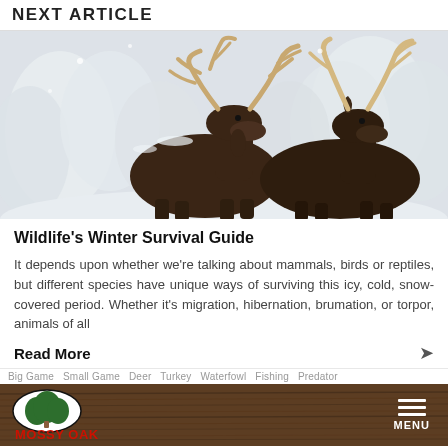NEXT ARTICLE
[Figure (photo): Two bull moose with large antlers standing in a snowy winter forest scene, dark brown fur dusted with snow, blurred white snowy trees in background]
Wildlife's Winter Survival Guide
It depends upon whether we're talking about mammals, birds or reptiles, but different species have unique ways of surviving this icy, cold, snow-covered period. Whether it's migration, hibernation, brumation, or torpor, animals of all
Read More
Big Game  Small Game  Deer  Turkey  Waterfowl  Fishing  Predator
[Figure (logo): Mossy Oak logo: oval shape with tree silhouette, green and black colors, red MOSSY OAK text below]
MENU